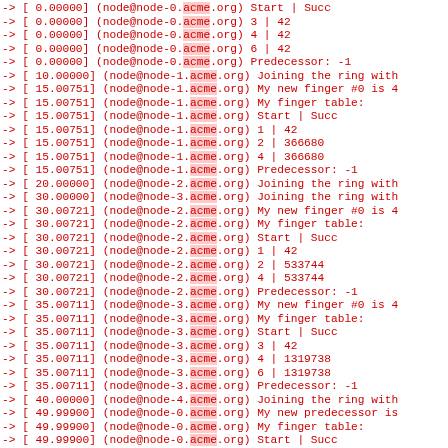Log output showing ring network nodes joining sequence with timestamps and finger table data
->  [   0.00000] (node@node-0.acme.org) Start | Succ
->  [   0.00000] (node@node-0.acme.org)     3   |   42
->  [   0.00000] (node@node-0.acme.org)     4   |   42
->  [   0.00000] (node@node-0.acme.org)     6   |   42
->  [   0.00000] (node@node-0.acme.org) Predecessor: -1
->  [  10.00000] (node@node-1.acme.org) Joining the ring with
->  [  15.00751] (node@node-1.acme.org) My new finger #0 is 4
->  [  15.00751] (node@node-1.acme.org) My finger table:
->  [  15.00751] (node@node-1.acme.org) Start | Succ
->  [  15.00751] (node@node-1.acme.org)     1   |   42
->  [  15.00751] (node@node-1.acme.org)     2   |   366680
->  [  15.00751] (node@node-1.acme.org)     4   |   366680
->  [  15.00751] (node@node-1.acme.org) Predecessor: -1
->  [  20.00000] (node@node-2.acme.org) Joining the ring with
->  [  30.00000] (node@node-3.acme.org) Joining the ring with
->  [  30.00721] (node@node-2.acme.org) My new finger #0 is 4
->  [  30.00721] (node@node-2.acme.org) My finger table:
->  [  30.00721] (node@node-2.acme.org) Start | Succ
->  [  30.00721] (node@node-2.acme.org)     1   |   42
->  [  30.00721] (node@node-2.acme.org)     2   |   533744
->  [  30.00721] (node@node-2.acme.org)     4   |   533744
->  [  30.00721] (node@node-2.acme.org) Predecessor: -1
->  [  35.00711] (node@node-3.acme.org) My new finger #0 is 4
->  [  35.00711] (node@node-3.acme.org) My finger table:
->  [  35.00711] (node@node-3.acme.org) Start | Succ
->  [  35.00711] (node@node-3.acme.org)     3   |   42
->  [  35.00711] (node@node-3.acme.org)     4   |   1319738
->  [  35.00711] (node@node-3.acme.org)     6   |   1319738
->  [  35.00711] (node@node-3.acme.org) Predecessor: -1
->  [  40.00000] (node@node-4.acme.org) Joining the ring with
->  [  49.99900] (node@node-0.acme.org) My new predecessor is
->  [  49.99900] (node@node-0.acme.org) My finger table:
->  [  49.99900] (node@node-0.acme.org) Start | Succ